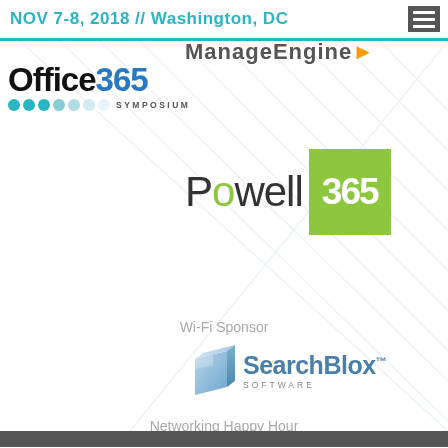NOV 7-8, 2018 // Washington, DC
[Figure (logo): ManageEngine partial logo/text cropped at top]
[Figure (logo): Office 365 Symposium logo with colored dots]
[Figure (logo): Powell 365 logo with green square]
Wi-Fi Sponsor
[Figure (logo): SearchBlox Software logo with 3D cube icon]
Networking Happy Hour